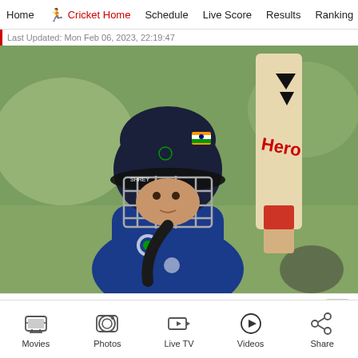Home  Cricket Home  Schedule  Live Score  Results  Ranking
Last Updated: Mon Feb 06, 2023, 22:19:47
[Figure (photo): Smriti Mandhana in cricket helmet and India cricket jersey holding a bat raised upward, standing on a green field.]
Smriti Mandhana will hope to be at her best. (AFP Photo)
Movies  Photos  Live TV  Videos  Share